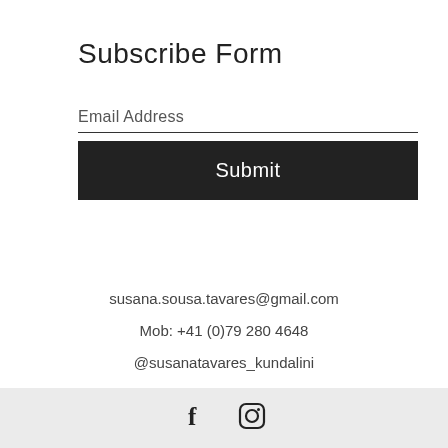Subscribe Form
Email Address
Submit
susana.sousa.tavares@gmail.com
Mob: +41 (0)79 280 4648
@susanatavares_kundalini
Lugano | Cureglia | Melide | Mendrisio, Switzerland (Ticino)
[Figure (other): Social media icons: Facebook (f) and Instagram (camera) icons in a light gray footer bar]